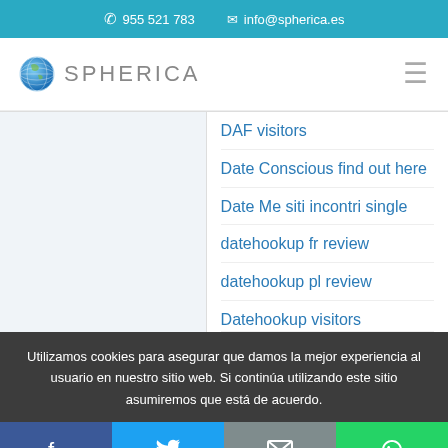955 521 783  info@spherica.es
[Figure (logo): Spherica logo with globe icon and text SPHERICA]
DAF visitors
Date Conscious find out here
Date Me siti incontri single
datehookup fr review
datehookup pl review
Datehookup visitors
Utilizamos cookies para asegurar que damos la mejor experiencia al usuario en nuestro sitio web. Si continúa utilizando este sitio asumiremos que está de acuerdo.
Facebook | Twitter | Email | WhatsApp